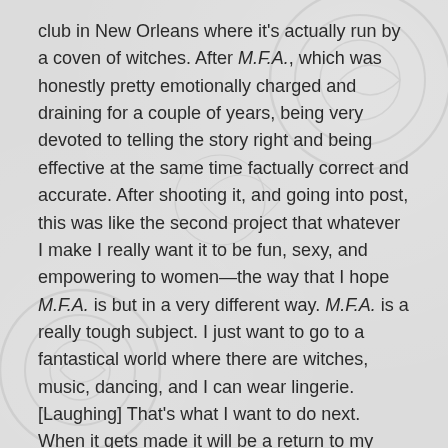club in New Orleans where it's actually run by a coven of witches. After M.F.A., which was honestly pretty emotionally charged and draining for a couple of years, being very devoted to telling the story right and being effective at the same time factually correct and accurate. After shooting it, and going into post, this was like the second project that whatever I make I really want it to be fun, sexy, and empowering to women—the way that I hope M.F.A. is but in a very different way. M.F.A. is a really tough subject. I just want to go to a fantastical world where there are witches, music, dancing, and I can wear lingerie. [Laughing] That's what I want to do next. When it gets made it will be a return to my roots as a musician and a pop singer.
LL: What does M.F.A. stand for?